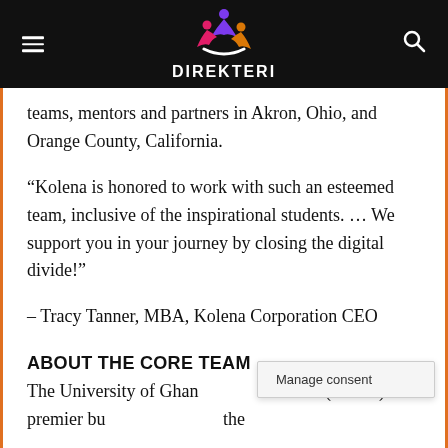DIREKTERI
teams, mentors and partners in Akron, Ohio, and Orange County, California.
“Kolena is honored to work with such an esteemed team, inclusive of the inspirational students. … We support you in your journey by closing the digital divide!”
– Tracy Tanner, MBA, Kolena Corporation CEO
ABOUT THE CORE TEAM
The University of Ghana… School (UGBS) is a premier bu… the